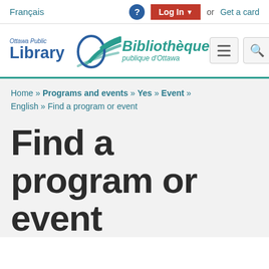Français | ? | Log In ▾ or Get a card
[Figure (logo): Ottawa Public Library / Bibliothèque publique d'Ottawa logo with teal swoosh and circle]
Home » Programs and events » Yes » Event » English » Find a program or event
Find a program or event